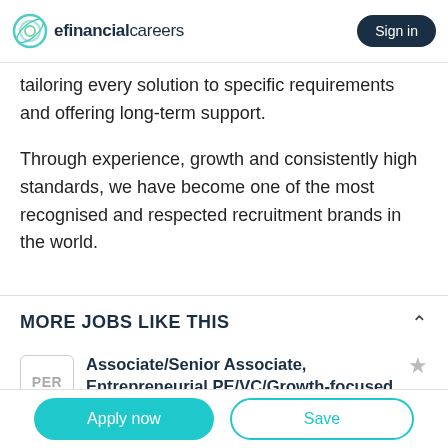efinancialcareers  Sign in
tailoring every solution to specific requirements and offering long-term support.
Through experience, growth and consistently high standards, we have become one of the most recognised and respected recruitment brands in the world.
MORE JOBS LIKE THIS
Associate/Senior Associate, Entrepreneurial PE/VC/Growth-focused Family Office, London, UK